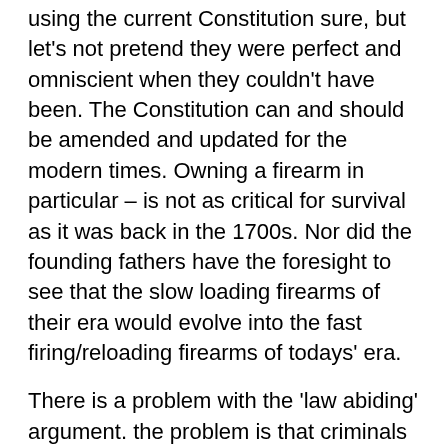using the current Constitution sure, but let's not pretend they were perfect and omniscient when they couldn't have been. The Constitution can and should be amended and updated for the modern times. Owning a firearm in particular – is not as critical for survival as it was back in the 1700s. Nor did the founding fathers have the foresight to see that the slow loading firearms of their era would evolve into the fast firing/reloading firearms of todays' era.
There is a problem with the 'law abiding' argument. the problem is that criminals are not born criminals. They are actually law abiding citizens UNTIL the moment they decide to break the law. Most of those mass shooters had no